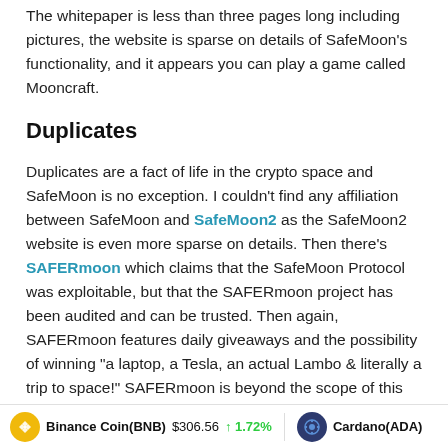The whitepaper is less than three pages long including pictures, the website is sparse on details of SafeMoon's functionality, and it appears you can play a game called Mooncraft.
Duplicates
Duplicates are a fact of life in the crypto space and SafeMoon is no exception. I couldn't find any affiliation between SafeMoon and SafeMoon2 as the SafeMoon2 website is even more sparse on details. Then there's SAFERmoon which claims that the SafeMoon Protocol was exploitable, but that the SAFERmoon project has been audited and can be trusted. Then again, SAFERmoon features daily giveaways and the possibility of winning "a laptop, a Tesla, an actual Lambo & literally a trip to space!" SAFERmoon is beyond the scope of this article.
Short History
Binance Coin(BNB) $306.56 ↑ 1.72%   Cardano(ADA)